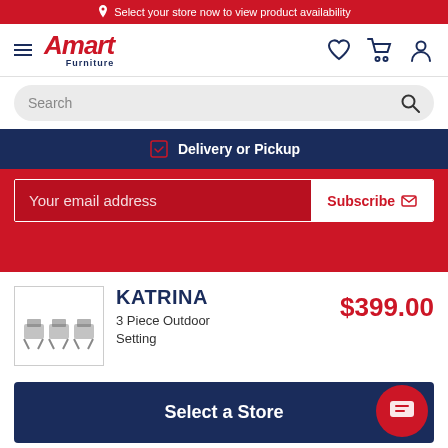Select your store now to view product availability
[Figure (logo): Amart Furniture logo with hamburger menu and nav icons]
Search
Delivery or Pickup
Your email address
Subscribe
KATRINA
3 Piece Outdoor Setting
$399.00
Select a Store